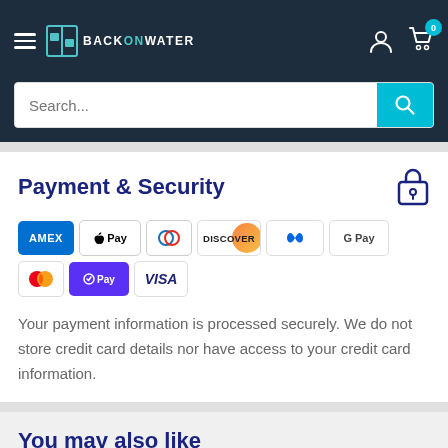[Figure (screenshot): BackOnWater website header with hamburger menu, logo, user icon, and cart icon with badge showing 0]
[Figure (screenshot): Search bar with placeholder text 'Search...' and teal search button with magnifying glass icon]
Payment & Security
[Figure (illustration): Row of payment method icons: Amex, Apple Pay, Diners Club, Discover, Meta Pay, Google Pay, Mastercard, Shop Pay, Visa]
Your payment information is processed securely. We do not store credit card details nor have access to your credit card information.
You may also like